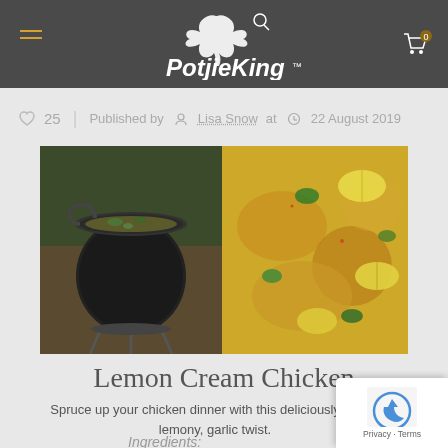PotjieKing
25  Published by  Lisa Snow at  22 August 2019
[Figure (photo): Two food photos side by side: left shows a potjie cast iron pot on a fire stand cooking outside; right shows lemon cream chicken dish with lemon wedges and fresh herbs garnished on top.]
Lemon Cream Chicken
Spruce up your chicken dinner with this deliciously creamy lemony, garlic twist.
Ingredients: